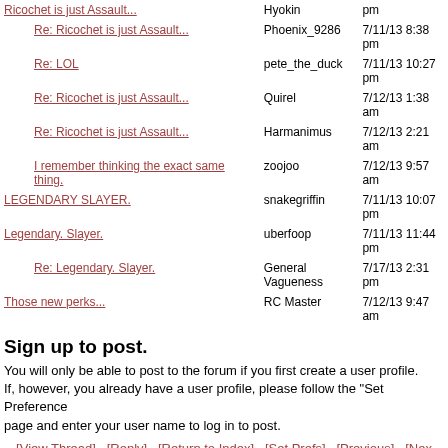| Topic | Author | Date |
| --- | --- | --- |
| Ricochet is just Assault... | Hyokin | 7/11/13 pm |
| Re: Ricochet is just Assault... | Phoenix_9286 | 7/11/13 8:38 pm |
| Re: LOL | pete_the_duck | 7/11/13 10:27 pm |
| Re: Ricochet is just Assault... | Quirel | 7/12/13 1:38 am |
| Re: Ricochet is just Assault... | Harmanimus | 7/12/13 2:21 am |
| I remember thinking the exact same thing. | zoojoo | 7/12/13 9:57 am |
| LEGENDARY SLAYER. | snakegriffin | 7/11/13 10:07 pm |
| Legendary. Slayer. | uberfoop | 7/11/13 11:44 pm |
| Re: Legendary. Slayer. | General Vagueness | 7/17/13 2:31 pm |
| Those new perks... | RC Master | 7/12/13 9:47 am |
Sign up to post.
You will only be able to post to the forum if you first create a user profile. If, however, you already have a user profile, please follow the "Set Preferences" page and enter your user name to log in to post.
[View Thread] [Reply] [Return to Index] [Set Prefs] [Previous] [Nex...
The HBO Forum is maintained by Halo Admin WebBBS 5.20 © 2006 tetra-team